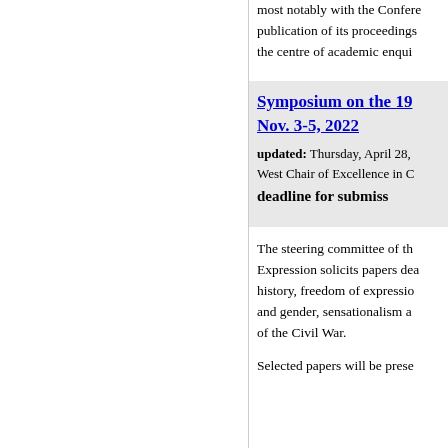most notably with the Conference publication of its proceedings the centre of academic enqui
Symposium on the 19 Nov. 3-5, 2022
updated: Thursday, April 28,
West Chair of Excellence in C
deadline for submiss
The steering committee of th Expression solicits papers dea history, freedom of expression and gender, sensationalism a of the Civil War.
Selected papers will be prese